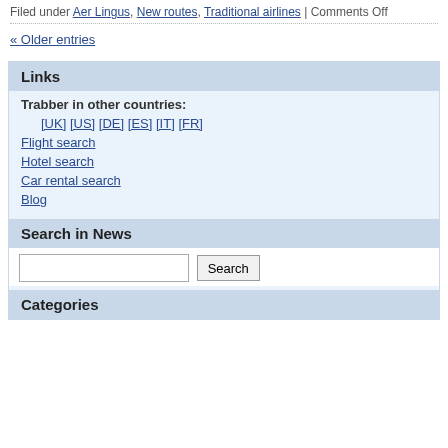Filed under Aer Lingus, New routes, Traditional airlines | Comments Off
« Older entries
Links
Trabber in other countries:
[UK] [US] [DE] [ES] [IT] [FR]
Flight search
Hotel search
Car rental search
Blog
Search in News
Categories